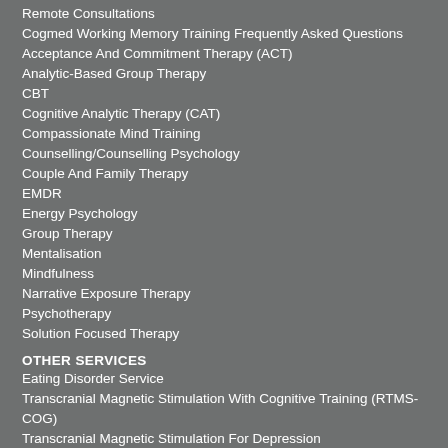Remote Consultations
Cogmed Working Memory Training Frequently Asked Questions
Acceptance And Commitment Therapy (ACT)
Analytic-Based Group Therapy
CBT
Cognitive Analytic Therapy (CAT)
Compassionate Mind Training
Counselling/Counselling Psychology
Couple And Family Therapy
EMDR
Energy Psychology
Group Therapy
Mentalisation
Mindfulness
Narrative Exposure Therapy
Psychotherapy
Solution Focused Therapy
OTHER SERVICES
Eating Disorder Service
Transcranial Magnetic Stimulation With Cognitive Training (RTMS-COG)
Transcranial Magnetic Stimulation For Depression
Adult ADHD